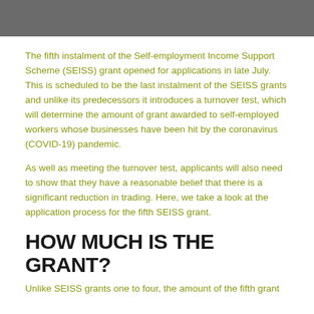The fifth instalment of the Self-employment Income Support Scheme (SEISS) grant opened for applications in late July. This is scheduled to be the last instalment of the SEISS grants and unlike its predecessors it introduces a turnover test, which will determine the amount of grant awarded to self-employed workers whose businesses have been hit by the coronavirus (COVID-19) pandemic.
As well as meeting the turnover test, applicants will also need to show that they have a reasonable belief that there is a significant reduction in trading. Here, we take a look at the application process for the fifth SEISS grant.
HOW MUCH IS THE GRANT?
Unlike SEISS grants one to four, the amount of the fifth grant